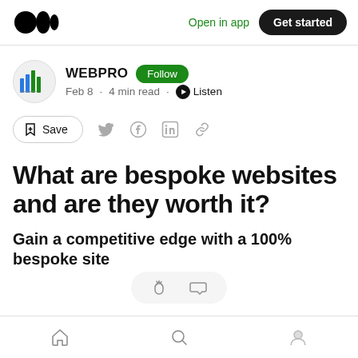Open in app | Get started
WEBPRO  Follow
Feb 8 · 4 min read · Listen
Save
What are bespoke websites and are they worth it?
Gain a competitive edge with a 100% bespoke site
Home · Search · Profile